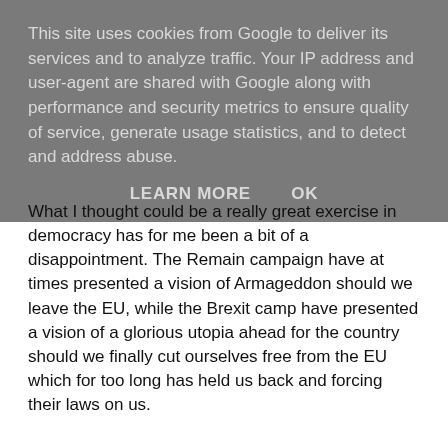This site uses cookies from Google to deliver its services and to analyze traffic. Your IP address and user-agent are shared with Google along with performance and security metrics to ensure quality of service, generate usage statistics, and to detect and address abuse.
LEARN MORE    OK
What I thought could be a really great exercise in democracy has for me been a bit of a disappointment. The Remain campaign have at times presented a vision of Armageddon should we leave the EU, while the Brexit camp have presented a vision of a glorious utopia ahead for the country should we finally cut ourselves free from the EU which for too long has held us back and forcing their laws on us.
The EU vote represents many different things for different people.
One thing that has really stood out for me about this referendum is that the way people feel and decide how to